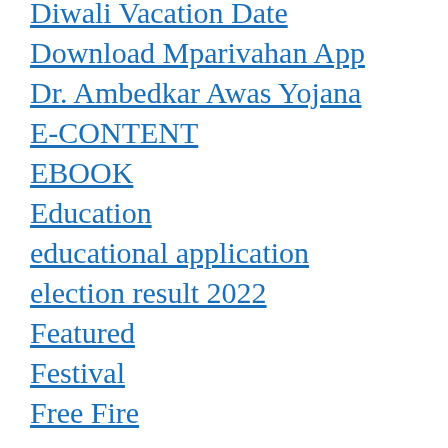Diwali Vacation Date
Download Mparivahan App
Dr. Ambedkar Awas Yojana
E-CONTENT
EBOOK
Education
educational application
election result 2022
Featured
Festival
Free Fire